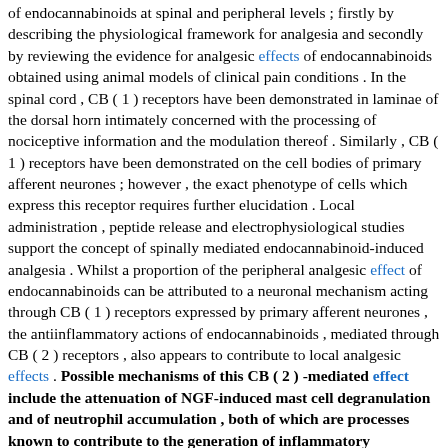of endocannabinoids at spinal and peripheral levels ; firstly by describing the physiological framework for analgesia and secondly by reviewing the evidence for analgesic effects of endocannabinoids obtained using animal models of clinical pain conditions . In the spinal cord , CB ( 1 ) receptors have been demonstrated in laminae of the dorsal horn intimately concerned with the processing of nociceptive information and the modulation thereof . Similarly , CB ( 1 ) receptors have been demonstrated on the cell bodies of primary afferent neurones ; however , the exact phenotype of cells which express this receptor requires further elucidation . Local administration , peptide release and electrophysiological studies support the concept of spinally mediated endocannabinoid-induced analgesia . Whilst a proportion of the peripheral analgesic effect of endocannabinoids can be attributed to a neuronal mechanism acting through CB ( 1 ) receptors expressed by primary afferent neurones , the antiinflammatory actions of endocannabinoids , mediated through CB ( 2 ) receptors , also appears to contribute to local analgesic effects . Possible mechanisms of this CB ( 2 ) -mediated effect include the attenuation of NGF-induced mast cell degranulation and of neutrophil accumulation , both of which are processes known to contribute to the generation of inflammatory hyperalgesia . The analgesic effects of cannabinoids have been demonstrated in models of somatic and visceral inflammatory pain and of neuropathic pain , the latter being an important area of therapeutic need . Analgesia is one of the principal therapeutic targets of cannabinoids . This review will discuss the analgesic effects of endocannabinoids in relation to two areas of therapeutic need , persistent inflammation and neuropathic pain . The more general aspects of the role of cannabinoids , endogenous and exogenous , in analgesia have been recently reviewed elsewhere ( Rice , Curr Opi Invest Drugs 2001 ; 2 : 399-414 ; Pertwee , Prog Neurobil 2001 ; 63 : 569-611 ; Rice , Mackie , In : Evans A S ed